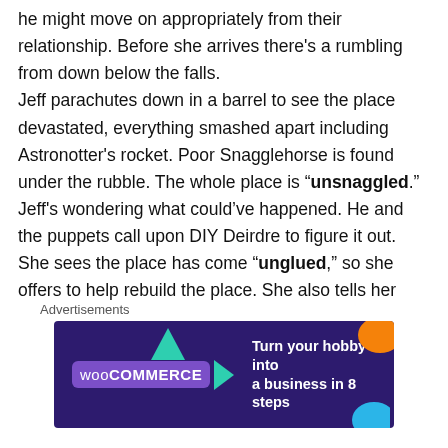he might move on appropriately from their relationship. Before she arrives there's a rumbling from down below the falls. Jeff parachutes down in a barrel to see the place devastated, everything smashed apart including Astronotter's rocket. Poor Snagglehorse is found under the rubble. The whole place is "unsnaggled." Jeff's wondering what could've happened. He and the puppets call upon DIY Deirdre to figure it out. She sees the place has come "unglued," so she offers to help rebuild the place. She also tells her brother she's not sure Jill is coming. Instead they'll focus on getting the puppets' homes back to normal. First, a song!
Advertisements
[Figure (other): WooCommerce advertisement banner: dark purple background with teal and orange accent shapes, WooCommerce logo on left, text 'Turn your hobby into a business in 8 steps' on right.]